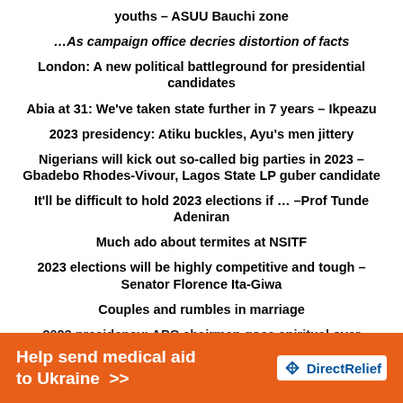youths – ASUU Bauchi zone
…As campaign office decries distortion of facts
London: A new political battleground for presidential candidates
Abia at 31: We've taken state further in 7 years – Ikpeazu
2023 presidency: Atiku buckles, Ayu's men jittery
Nigerians will kick out so-called big parties in 2023 – Gbadebo Rhodes-Vivour, Lagos State LP guber candidate
It'll be difficult to hold 2023 elections if … –Prof Tunde Adeniran
Much ado about termites at NSITF
2023 elections will be highly competitive and tough – Senator Florence Ita-Giwa
Couples and rumbles in marriage
2023 presidency: APC chairman goes spiritual over Tinubu's
[Figure (infographic): Orange advertisement banner: Help send medical aid to Ukraine >> Direct Relief logo]